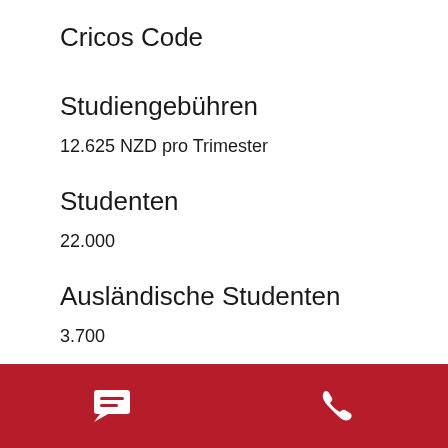Cricos Code
Studiengebühren
12.625 NZD pro Trimester
Studenten
22.000
Ausländische Studenten
3.700
Website der Uni